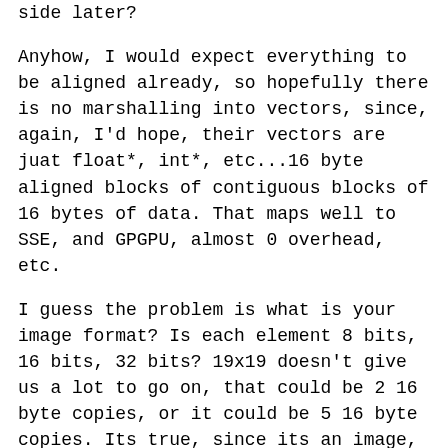side later?
Anyhow, I would expect everything to be aligned already, so hopefully there is no marshalling into vectors, since, again, I'd hope, their vectors are juat float*, int*, etc...16 byte aligned blocks of contiguous blocks of 16 bytes of data.  That maps well to SSE, and GPGPU, almost 0 overhead, etc.
I guess the problem is what is your image format?  Is each element 8 bits, 16 bits, 32 bits?  19x19 doesn't give us a lot to go on, that could be 2 16 byte copies, or it could be 5 16 byte copies.  Its true, since its an image, reading 19x19 from an arbitrary location isn't going to be as fast as it could, but here is what I'd do.
First off, do you have to copy.  Memory operations, even on the CPU are expensive.  Even L1 cache can have an extra cycle associated with it.  If you can just calculate 19 row offsets, it's probably faster than copying 361 bytes at 8 bits per pixel (greyscale, or 256 color), and